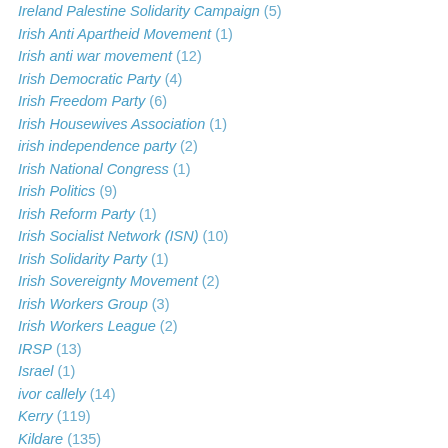Ireland Palestine Solidarity Campaign (5)
Irish Anti Apartheid Movement (1)
Irish anti war movement (12)
Irish Democratic Party (4)
Irish Freedom Party (6)
Irish Housewives Association (1)
irish independence party (2)
Irish National Congress (1)
Irish Politics (9)
Irish Reform Party (1)
Irish Socialist Network (ISN) (10)
Irish Solidarity Party (1)
Irish Sovereignty Movement (2)
Irish Workers Group (3)
Irish Workers League (2)
IRSP (13)
Israel (1)
ivor callely (14)
Kerry (119)
Kildare (135)